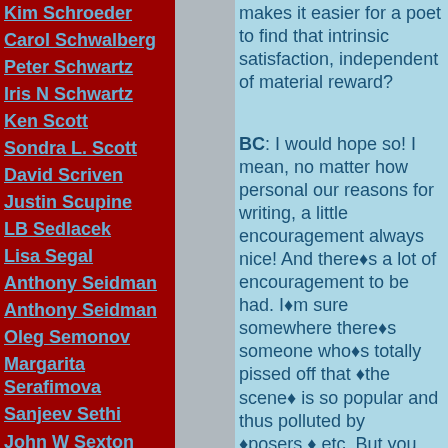Kim Schroeder
Carol Schwalberg
Peter Schwartz
Iris N Schwartz
Ken Scott
Sondra L. Scott
David Scriven
Justin Scupine
LB Sedlacek
Lisa Segal
Anthony Seidman
Anthony Seidman
Oleg Semonov
Margarita Serafimova
Sanjeev Sethi
John W Sexton
Jack Allen Shafer
Dahn Shaulis
Tom Sheehan
Jake Sheff
Steve Shickman
Nancy Shiffrin
June Shiitake
Larissa Shmailo
Ferrari Silverpowder
makes it easier for a poet to find that intrinsic satisfaction, independent of material reward?
BC: I would hope so! I mean, no matter how personal our reasons for writing, a little encouragement always nice! And there◆s a lot of encouragement to be had. I◆m sure somewhere there◆s someone who◆s totally pissed off that ◆the scene◆ is so popular and thus polluted by ◆posers,◆ etc. But you find that everywhere at virtually any point in history